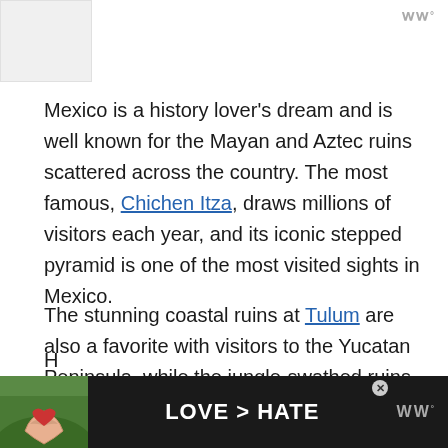[Figure (photo): Light grey image placeholder in top-left corner]
Mexico is a history lover’s dream and is well known for the Mayan and Aztec ruins scattered across the country. The most famous, Chichen Itza, draws millions of visitors each year, and its iconic stepped pyramid is one of the most visited sights in Mexico.
The stunning coastal ruins at Tulum are also a favorite with visitors to the Yucatan Peninsula, while the jungle-swathed ruins of Palenque in the south are a photographer’s dream.
[Figure (photo): Advertisement banner at the bottom showing hands forming a heart shape with text LOVE > HATE on dark background, with WW logo]